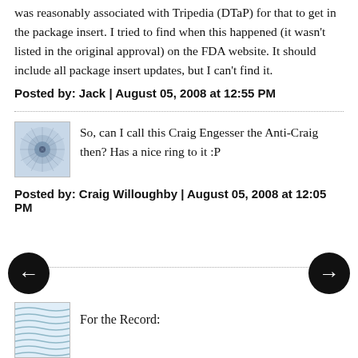was reasonably associated with Tripedia (DTaP) for that to get in the package insert. I tried to find when this happened (it wasn't listed in the original approval) on the FDA website. It should include all package insert updates, but I can't find it.
Posted by: Jack | August 05, 2008 at 12:55 PM
So, can I call this Craig Engesser the Anti-Craig then? Has a nice ring to it :P
Posted by: Craig Willoughby | August 05, 2008 at 12:05 PM
For the Record: